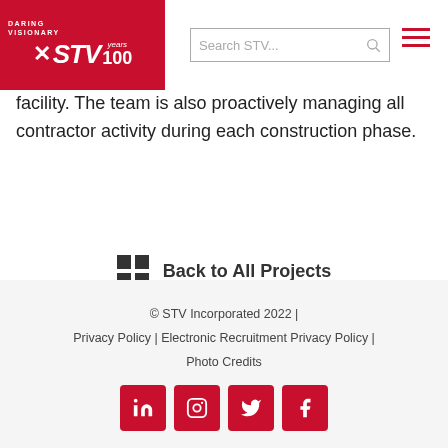STV 100 years — Search STV...
facility. The team is also proactively managing all contractor activity during each construction phase.
Back to All Projects
© STV Incorporated 2022 | Privacy Policy | Electronic Recruitment Privacy Policy | Photo Credits